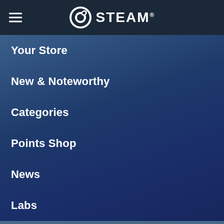STEAM
Your Store
New & Noteworthy
Categories
Points Shop
News
Labs
[Figure (screenshot): Search bar with placeholder text 'search' and a magnifying glass icon on a blue-gray background]
[Figure (screenshot): Star Wars video game artwork showing lightsaber battle scene with green and red lightsabers, with 'STAR WARS' text visible at bottom]